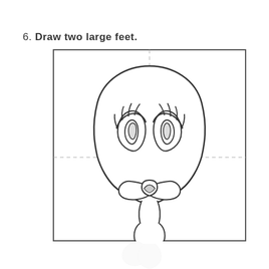6. Draw two large feet.
[Figure (illustration): Step 6 drawing tutorial showing Tweety Bird character outline with a large round head, big eyes with lashes, small beak/mouth, neck and one large foot visible at bottom. A dashed crosshair guides the drawing. The image is inside a bordered square box with dashed center lines.]